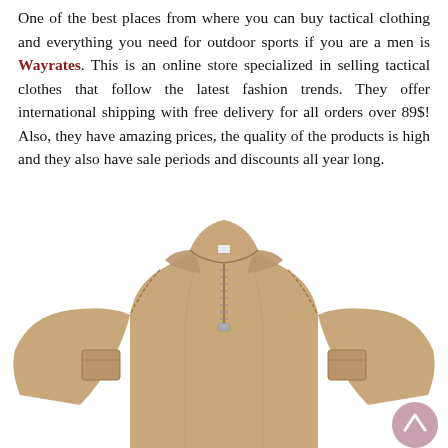One of the best places from where you can buy tactical clothing and everything you need for outdoor sports if you are a men is Wayrates. This is an online store specialized in selling tactical clothes that follow the latest fashion trends. They offer international shipping with free delivery for all orders over 89$! Also, they have amazing prices, the quality of the products is high and they also have sale periods and discounts all year long.
[Figure (photo): A tan/khaki tactical long-sleeve polo shirt with a zipper at the collar and shoulder/arm pockets, displayed on an invisible mannequin against a white background.]